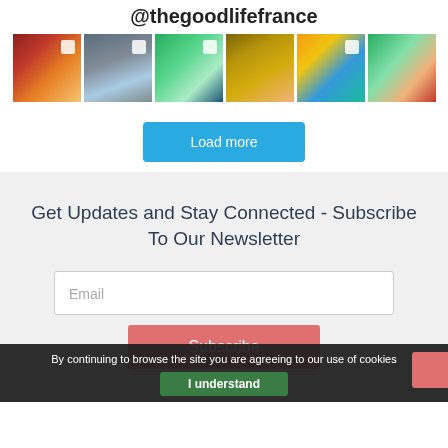@thegoodlifefrance
[Figure (photo): Grid of 6 Instagram photo thumbnails showing French countryside and town scenes]
Load more
Get Updates and Stay Connected - Subscribe To Our Newsletter
Email
Subscribe
By continuing to browse the site you are agreeing to our use of cookies
I understand